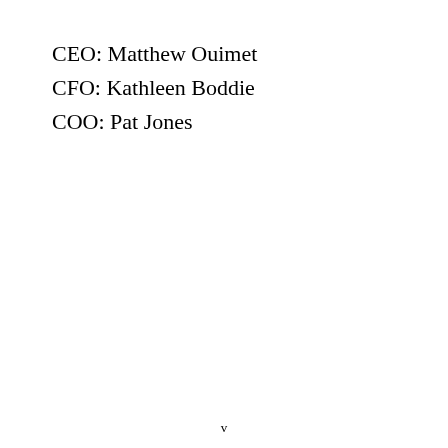CEO: Matthew Ouimet
CFO: Kathleen Boddie
COO: Pat Jones
v